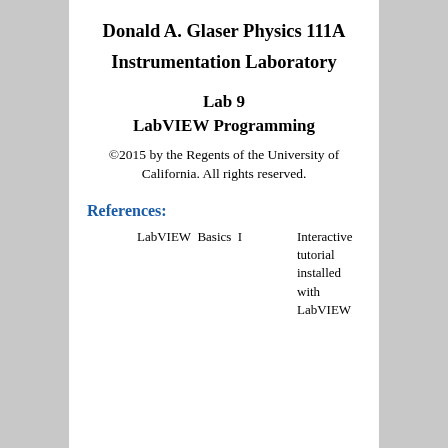Donald A. Glaser Physics 111A
Instrumentation Laboratory
Lab 9
LabVIEW Programming
©2015 by the Regents of the University of California. All rights reserved.
References:
LabVIEW Basics I  Interactive tutorial installed with LabVIEW